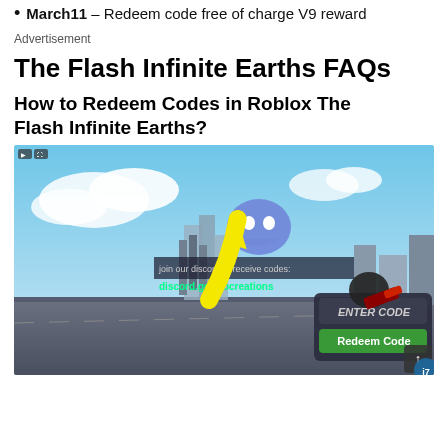March11 – Redeem code free of charge V9 reward
Advertisement
The Flash Infinite Earths FAQs
How to Redeem Codes in Roblox The Flash Infinite Earths?
[Figure (screenshot): Screenshot of Roblox The Flash Infinite Earths game showing the code redemption screen with ENTER CODE text field and green Redeem Code button. A yellow arrow points to the input area. Discord text visible: join our discord to receive codes: discord.gg/procreations]